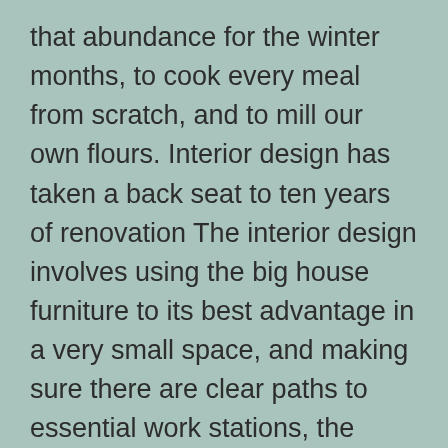that abundance for the winter months, to cook every meal from scratch, and to mill our own flours. Interior design has taken a back seat to ten years of renovation The interior design involves using the big house furniture to its best advantage in a very small space, and making sure there are clear paths to essential work stations, the washroom, and the sleeping area. It isn't pretty in here, or optimally furnished for its purpose, but we manage. Luckily, during harvest season, when Mist Cottage is at the peak of chaos for the year, we are too darned busy to notice aesthetics.